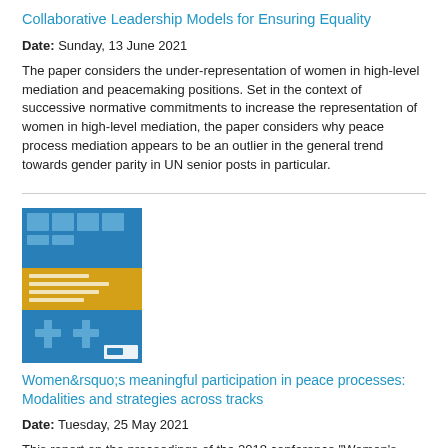Collaborative Leadership Models for Ensuring Equality
Date: Sunday, 13 June 2021
The paper considers the under-representation of women in high-level mediation and peacemaking positions. Set in the context of successive normative commitments to increase the representation of women in high-level mediation, the paper considers why peace process mediation appears to be an outlier in the general trend towards gender parity in UN senior posts in particular.
[Figure (photo): Book cover with blue and yellow design for publication about women's participation in peace processes]
Women’s meaningful participation in peace processes: Modalities and strategies across tracks
Date: Tuesday, 25 May 2021
This report on the proceedings of the 2018 conference "Women's meaningful participation in peace processes: Modalities and strategies across tracks", explores innovations, trends, and